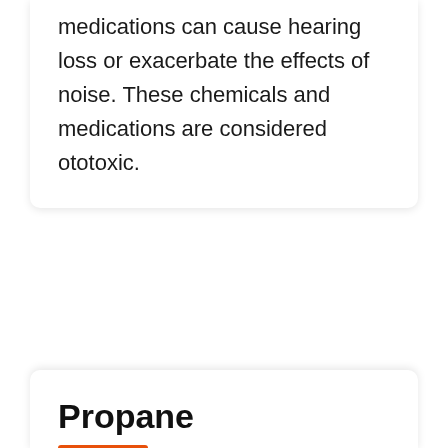medications can cause hearing loss or exacerbate the effects of noise. These chemicals and medications are considered ototoxic.
Propane